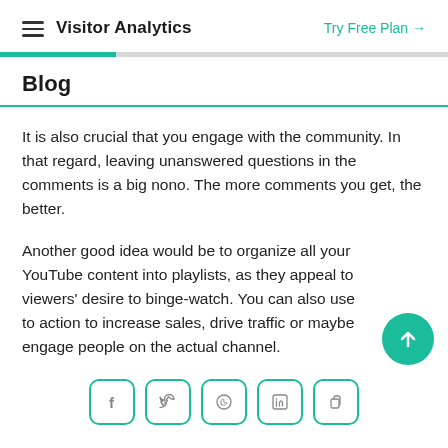Visitor Analytics  Try Free Plan →
It is also crucial that you engage with the community. In that regard, leaving unanswered questions in the comments is a big nono. The more comments you get, the better.
Another good idea would be to organize all your YouTube content into playlists, as they appeal to viewers' desire to binge-watch. You can also use to action to increase sales, drive traffic or maybe engage people on the actual channel.
[Figure (other): Social share icons row: Facebook, Twitter, WhatsApp, LinkedIn, and a copy/share icon, each in a rounded square teal border]